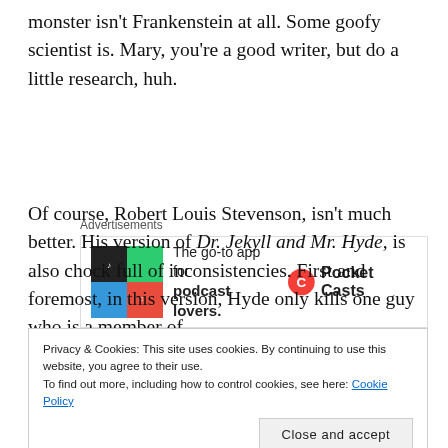monster isn't Frankenstein at all. Some goofy scientist is. Mary, you're a good writer, but do a little research, huh.
[Figure (other): Advertisement banner for Pocket Casts app: 'The go-to app for podcast lovers.' with colorful app icon and Pocket Casts logo.]
Of course, Robert Louis Stevenson, isn't much better. His version of Dr. Jekyll and Mr. Hyde, is also chock full of inconsistencies. First and foremost, in this version, Hyde only kills one guy who is a member of old male politicians every time, Bob. In point of fact
Privacy & Cookies: This site uses cookies. By continuing to use this website, you agree to their use.
To find out more, including how to control cookies, see here: Cookie Policy
Close and accept